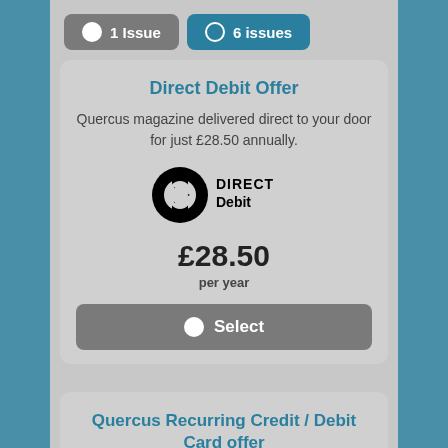1 Issue | 6 issues (tab selection)
Direct Debit Offer
Quercus magazine delivered direct to your door for just £28.50 annually.
[Figure (logo): Direct Debit logo with D-arrow symbol and DIRECT Debit text]
£28.50
per year
Select
Quercus Recurring Credit / Debit Card offer
Subscribe to Quercus by annual recurring debit/credit card payment.